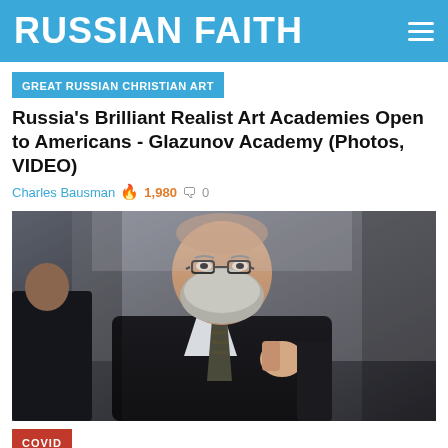RUSSIAN FAITH
GREAT RUSSIAN CHRISTIAN ART
Russia's Brilliant Realist Art Academies Open to Americans - Glazunov Academy (Photos, VIDEO)
Charles Bausman 🔥 1,980 💬 0
[Figure (photo): A bearded man with glasses wearing a dark suit and patterned tie, gesturing with his hand during what appears to be a panel discussion or conference.]
COVID
Russian Christian Activists Start Nationwide Petition Drive, Demand